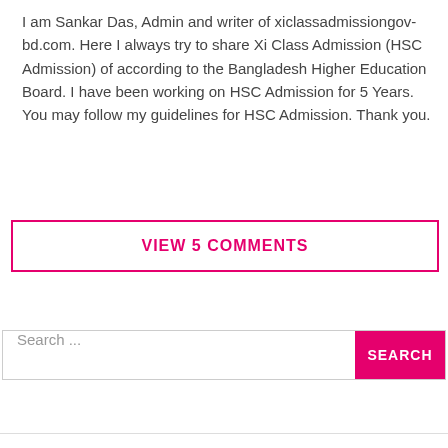I am Sankar Das, Admin and writer of xiclassadmissiongov-bd.com. Here I always try to share Xi Class Admission (HSC Admission) of according to the Bangladesh Higher Education Board. I have been working on HSC Admission for 5 Years. You may follow my guidelines for HSC Admission. Thank you.
VIEW 5 COMMENTS
Search ...